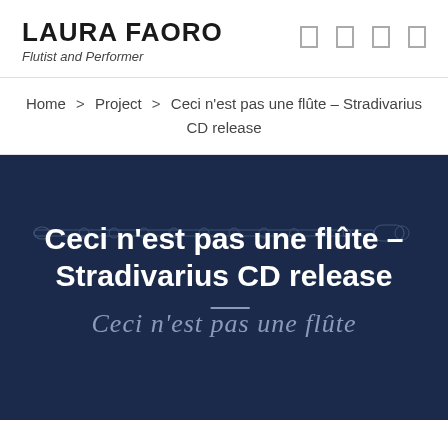LAURA FAORO
Flutist and Performer
Home > Project > Ceci n'est pas une flûte – Stradivarius CD release
[Figure (illustration): Dark navy blue banner with a faint technical line drawing of a flute in the background. White bold text reads: Ceci n'est pas une flûte – Stradivarius CD release. Below in cursive gray text: Ceci n'est pas une flûte]
Ceci n'est pas une flûte – Stradivarius CD release
Ceci n'est pas une flûte